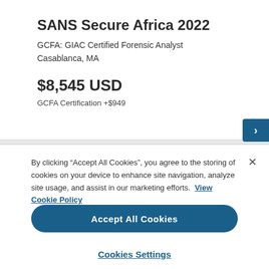SANS Secure Africa 2022
GCFA: GIAC Certified Forensic Analyst
Casablanca, MA
$8,545 USD
GCFA Certification +$949
By clicking “Accept All Cookies”, you agree to the storing of cookies on your device to enhance site navigation, analyze site usage, and assist in our marketing efforts. View Cookie Policy
Accept All Cookies
Cookies Settings